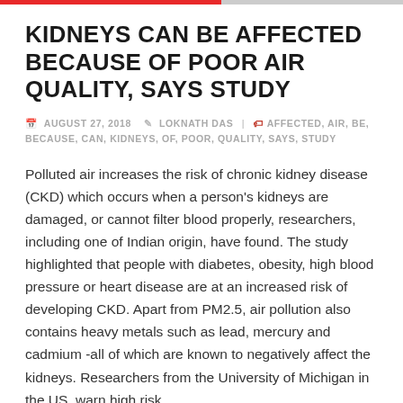KIDNEYS CAN BE AFFECTED BECAUSE OF POOR AIR QUALITY, SAYS STUDY
📅 AUGUST 27, 2018  👤 LOKNATH DAS  🏷 AFFECTED, AIR, BE, BECAUSE, CAN, KIDNEYS, OF, POOR, QUALITY, SAYS, STUDY
Polluted air increases the risk of chronic kidney disease (CKD) which occurs when a person's kidneys are damaged, or cannot filter blood properly, researchers, including one of Indian origin, have found. The study highlighted that people with diabetes, obesity, high blood pressure or heart disease are at an increased risk of developing CKD. Apart from PM2.5, air pollution also contains heavy metals such as lead, mercury and cadmium -all of which are known to negatively affect the kidneys. Researchers from the University of Michigan in the US, warn high risk...
READ MORE
FINGER AND TOENAIL ED PROGRAM...